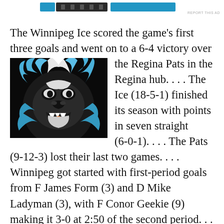[Ad bar / report this ad]
[Figure (logo): Winnipeg Ice hockey team logo — a yeti/bigfoot face in blue and white with an orange flame, on a black background]
The Winnipeg Ice scored the game's first three goals and went on to a 6-4 victory over the Regina Pats in the Regina hub. . . . The Ice (18-5-1) finished its season with points in seven straight (6-0-1). . . . The Pats (9-12-3) lost their last two games. . . . Winnipeg got started with first-period goals from F James Form (3) and D Mike Ladyman (3), with F Conor Geekie (9) making it 3-0 at 2:50 of the second period. . . . F Zack Smith scored while shorthanded for Regina at 15:55, but the Ice inding with the score…